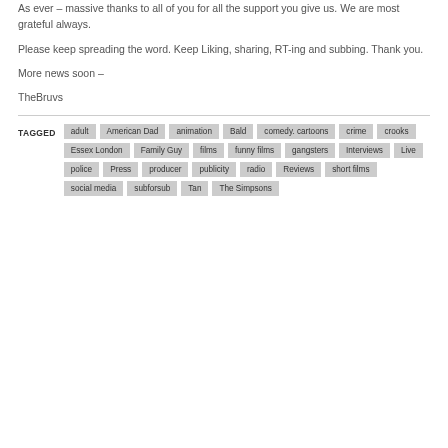As ever – massive thanks to all of you for all the support you give us. We are most grateful always.
Please keep spreading the word. Keep Liking, sharing, RT-ing and subbing. Thank you.
More news soon –
TheBruvs
TAGGED adult American Dad animation Bald comedy. cartoons crime crooks Essex London Family Guy films funny films gangsters Interviews Live police Press producer publicity radio Reviews short films social media subforsub Tan The Simpsons